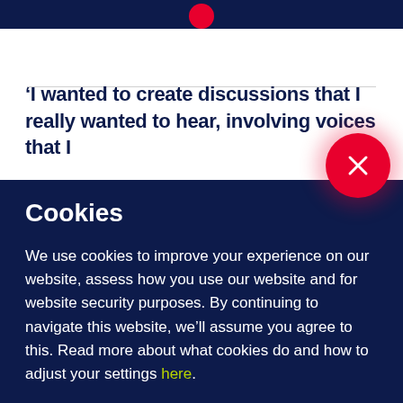[Figure (logo): Dark navy top bar with a red circular logo centered at the top]
‘I wanted to create discussions that I really wanted to hear, involving voices that I
[Figure (other): Red circular close button with white X icon]
Cookies
We use cookies to improve your experience on our website, assess how you use our website and for website security purposes. By continuing to navigate this website, we’ll assume you agree to this. Read more about what cookies do and how to adjust your settings here.